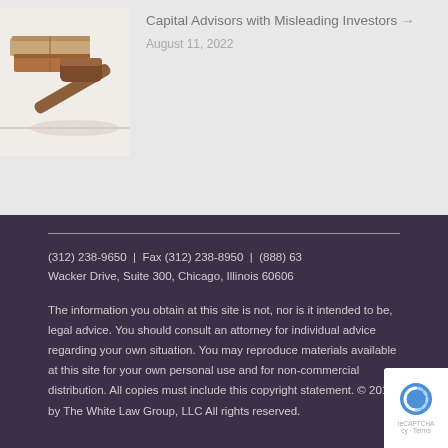[Figure (photo): Photo of a wooden gavel and law books on a white background]
Capital Advisors with Misleading Investors → August 11, 2022
(312) 238-9650 | Fax (312) 238-8950 | (888) 63... Wacker Drive, Suite 300, Chicago, Illinois 60606
The information you obtain at this site is not, nor is it intended to be, legal advice. You should consult an attorney for individual advice regarding your own situation. You may reproduce materials available at this site for your own personal use and for non-commercial distribution. All copies must include this copyright statement. © 2015 by The White Law Group, LLC All rights reserved.